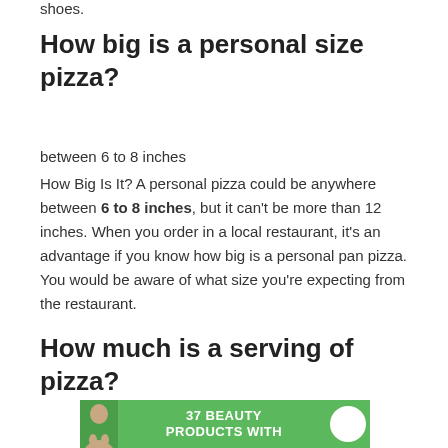shoes.
How big is a personal size pizza?
between 6 to 8 inches
How Big Is It? A personal pizza could be anywhere between 6 to 8 inches, but it can't be more than 12 inches. When you order in a local restaurant, it's an advantage if you know how big is a personal pan pizza. You would be aware of what size you're expecting from the restaurant.
How much is a serving of pizza?
[Figure (photo): Advertisement banner with a person and text reading '37 BEAUTY PRODUCTS WITH' on a green background]